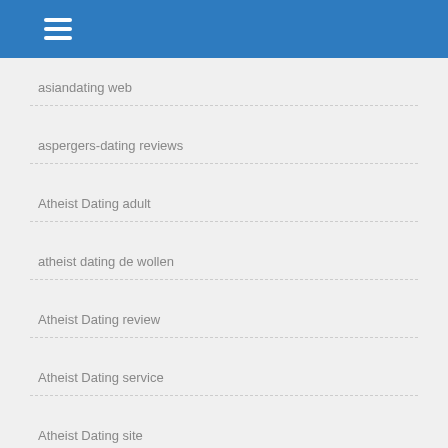asiandating web
aspergers-dating reviews
Atheist Dating adult
atheist dating de wollen
Atheist Dating review
Atheist Dating service
Atheist Dating site